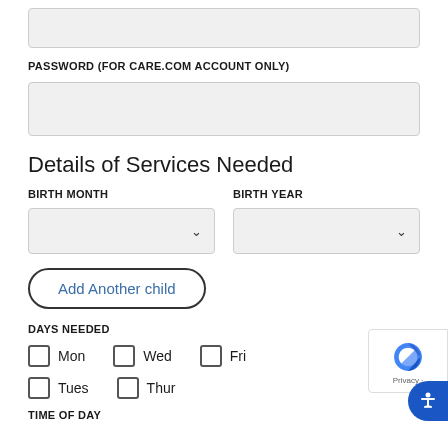[input field - top, partial]
PASSWORD (FOR CARE.COM ACCOUNT ONLY)
[password input field]
Details of Services Needed
BIRTH MONTH
BIRTH YEAR
[dropdown - birth month]
[dropdown - birth year]
Add Another child
DAYS NEEDED
Mon
Wed
Fri
Tues
Thur
TIME OF DAY